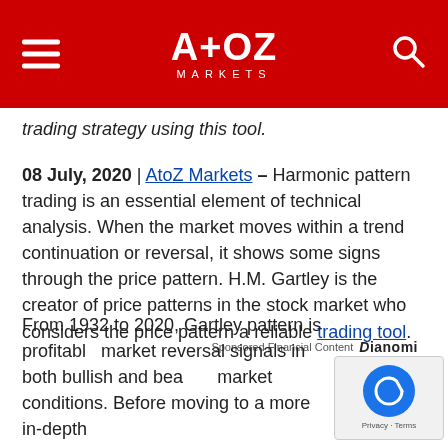AtoZ Markets
trading strategy using this tool.
08 July, 2020 | AtoZ Markets – Harmonic pattern trading is an essential element of technical analysis. When the market moves within a trend continuation or reversal, it shows some signs through the price pattern. H.M. Gartley is the creator of price patterns in the stock market who considers the price pattern a reliable trading tool.
Sponsored Financial Content  Dianomi
From 1932 to 2020, Gartley pattern is profitable market reversal signals in both bullish and bearish market conditions. Before moving to a more in-depth